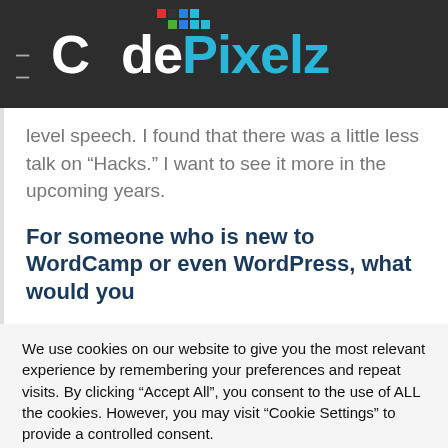CodePixelz
level speech. I found that there was a little less talk on "Hacks." I want to see it more in the upcoming years.
For someone who is new to WordCamp or even WordPress, what would you
We use cookies on our website to give you the most relevant experience by remembering your preferences and repeat visits. By clicking "Accept All", you consent to the use of ALL the cookies. However, you may visit "Cookie Settings" to provide a controlled consent.